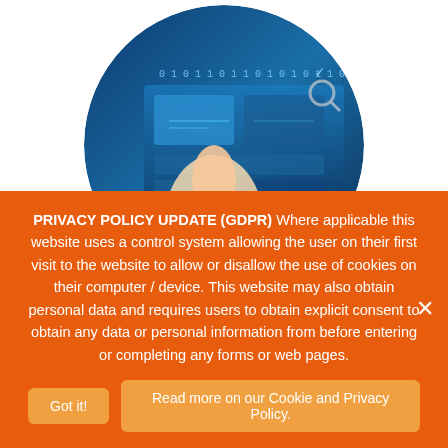[Figure (photo): Circular cropped photograph of a hand touching a digital touchscreen interface with binary code and blue technology imagery]
Please Note: This position has now been filled (Updated: 23/11/2018) NEW – IT Engineer (Updated 09/11/2018) We are seeking an IT Engineer to join our IT team. This is an
PRIVACY POLICY UPDATE (GDPR) Where applicable this website uses a control system allowing the user on their first visit to the website to allow or disallow the use of cookies on their computer / device. This website may also obtain personal data and requires users to obtain explicit consent to obtain any data or personal information from before entering or completing any forms or web pages.
Got it!
Read more on our Cookie and Privacy Policy.